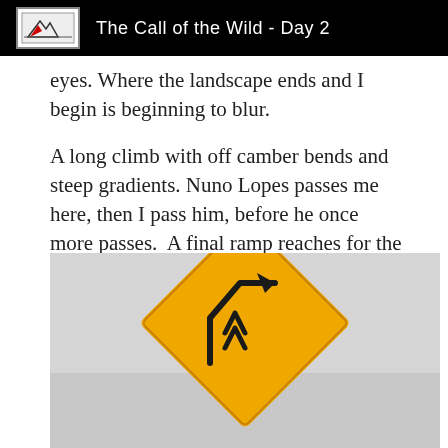The Call of the Wild - Day 2
eyes. Where the landscape ends and I begin is beginning to blur.
A long climb with off camber bends and steep gradients. Nuno Lopes passes me here, then I pass him, before he once more passes.  A final ramp reaches for the sky, a heart rate of 500 bpm and the patience of a saint sees me finally crest this pass.
[Figure (photo): A yellow road warning sign featuring a steep incline symbol (black arrow/chevron on yellow diamond-shaped sign), photographed against a light grey background.]